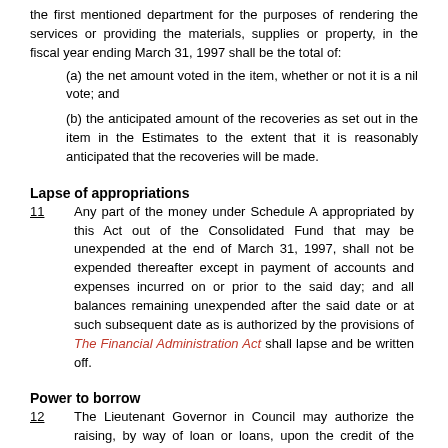the first mentioned department for the purposes of rendering the services or providing the materials, supplies or property, in the fiscal year ending March 31, 1997 shall be the total of:
(a) the net amount voted in the item, whether or not it is a nil vote; and
(b) the anticipated amount of the recoveries as set out in the item in the Estimates to the extent that it is reasonably anticipated that the recoveries will be made.
Lapse of appropriations
11   Any part of the money under Schedule A appropriated by this Act out of the Consolidated Fund that may be unexpended at the end of March 31, 1997, shall not be expended thereafter except in payment of accounts and expenses incurred on or prior to the said day; and all balances remaining unexpended after the said date or at such subsequent date as is authorized by the provisions of The Financial Administration Act shall lapse and be written off.
Power to borrow
12   The Lieutenant Governor in Council may authorize the raising, by way of loan or loans, upon the credit of the government, in accordance with the provisions of The Financial Administration Act, such sum or sums of money not exceeding in the aggregate the net sum of $500,000,000. as may be considered necessary for making any payments authorized or required by any Act to be made out of the Consolidated Fund, or for reimbursing the Consolidated Fund for